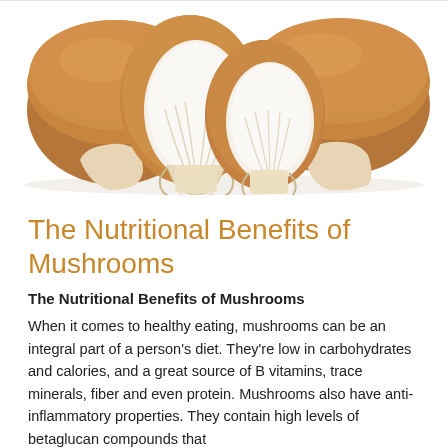[Figure (photo): Close-up photo of several brown mushrooms, some whole and some sliced in half showing the white interior, arranged on a white background.]
The Nutritional Benefits of Mushrooms
The Nutritional Benefits of Mushrooms
When it comes to healthy eating, mushrooms can be an integral part of a person's diet. They're low in carbohydrates and calories, and a great source of B vitamins, trace minerals, fiber and even protein. Mushrooms also have anti-inflammatory properties. They contain high levels of betaglucan compounds that